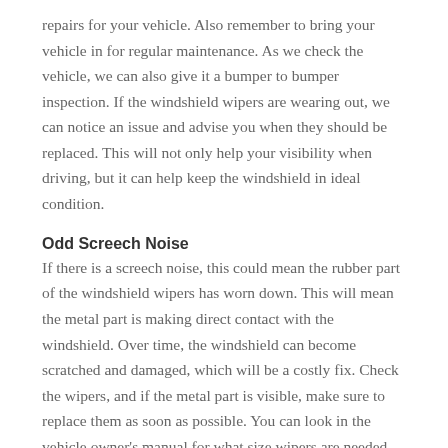repairs for your vehicle. Also remember to bring your vehicle in for regular maintenance. As we check the vehicle, we can also give it a bumper to bumper inspection. If the windshield wipers are wearing out, we can notice an issue and advise you when they should be replaced. This will not only help your visibility when driving, but it can help keep the windshield in ideal condition.
Odd Screech Noise
If there is a screech noise, this could mean the rubber part of the windshield wipers has worn down. This will mean the metal part is making direct contact with the windshield. Over time, the windshield can become scratched and damaged, which will be a costly fix. Check the wipers, and if the metal part is visible, make sure to replace them as soon as possible. You can look in the vehicle owner's manual for what size wipers are needed. We can also assist you with the replacement process as well.